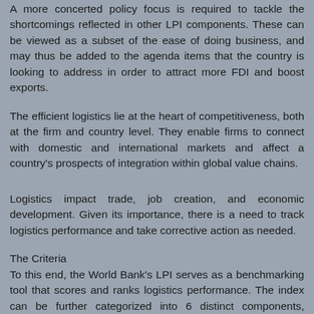A more concerted policy focus is required to tackle the shortcomings reflected in other LPI components. These can be viewed as a subset of the ease of doing business, and may thus be added to the agenda items that the country is looking to address in order to attract more FDI and boost exports.
The efficient logistics lie at the heart of competitiveness, both at the firm and country level. They enable firms to connect with domestic and international markets and affect a country's prospects of integration within global value chains.
Logistics impact trade, job creation, and economic development. Given its importance, there is a need to track logistics performance and take corrective action as needed.
The Criteria
To this end, the World Bank's LPI serves as a benchmarking tool that scores and ranks logistics performance. The index can be further categorized into 6 distinct components, namely: